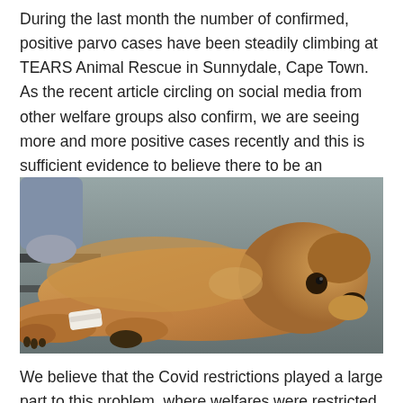During the last month the number of confirmed, positive parvo cases have been steadily climbing at TEARS Animal Rescue in Sunnydale, Cape Town. As the recent article circling on social media from other welfare groups also confirm, we are seeing more and more positive cases recently and this is sufficient evidence to believe there to be an outbreak.
[Figure (photo): A sick golden-brown dog lying on a metal veterinary table with a white bandage/IV wrap on its front leg, looking weak and unwell.]
We believe that the Covid restrictions played a large part to this problem, where welfares were restricted to reach their communities to deliver vaccinations for